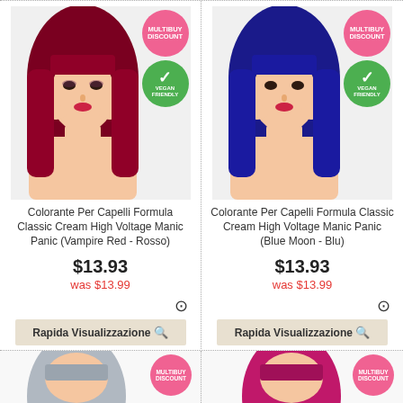[Figure (photo): Product listing card: woman with red hair (Vampire Red), with MULTIBUY DISCOUNT pink badge and VEGAN FRIENDLY green badge]
Colorante Per Capelli Formula Classic Cream High Voltage Manic Panic (Vampire Red - Rosso)
$13.93
was $13.99
Rapida Visualizzazione 🔍
[Figure (photo): Product listing card: woman with blue hair (Blue Moon - Blu), with MULTIBUY DISCOUNT pink badge and VEGAN FRIENDLY green badge]
Colorante Per Capelli Formula Classic Cream High Voltage Manic Panic (Blue Moon - Blu)
$13.93
was $13.99
Rapida Visualizzazione 🔍
[Figure (photo): Partial product card bottom: woman with silver/grey hair, MULTIBUY DISCOUNT pink badge]
[Figure (photo): Partial product card bottom: woman with magenta/pink hair, MULTIBUY DISCOUNT pink badge]